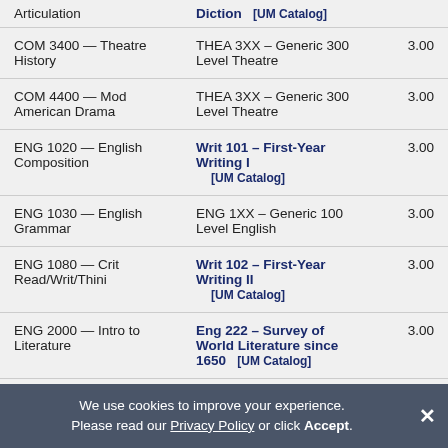| Source Course | Transfer Equivalent | Credits |
| --- | --- | --- |
| Articulation | Diction   [UM Catalog] |  |
| COM 3400 — Theatre History | THEA 3XX – Generic 300 Level Theatre | 3.00 |
| COM 4400 — Mod American Drama | THEA 3XX – Generic 300 Level Theatre | 3.00 |
| ENG 1020 — English Composition | Writ 101 – First-Year Writing I   [UM Catalog] | 3.00 |
| ENG 1030 — English Grammar | ENG 1XX – Generic 100 Level English | 3.00 |
| ENG 1080 — Crit Read/Writ/Thini | Writ 102 – First-Year Writing II   [UM Catalog] | 3.00 |
| ENG 2000 — Intro to Literature | Eng 222 – Survey of World Literature since 1650   [UM Catalog] | 3.00 |
We use cookies to improve your experience. Please read our Privacy Policy or click Accept.